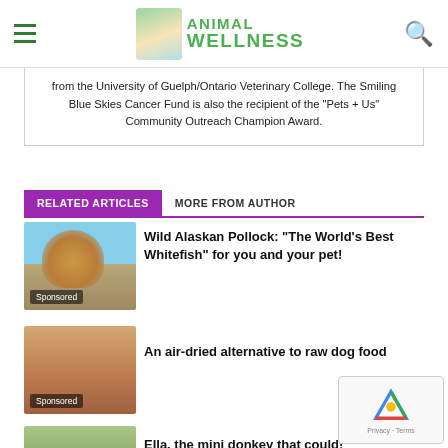Animal Wellness
from the University of Guelph/Ontario Veterinary College. The Smiling Blue Skies Cancer Fund is also the recipient of the "Pets + Us" Community Outreach Champion Award.
RELATED ARTICLES   MORE FROM AUTHOR
[Figure (photo): Golden retriever dog sitting on a beach, photo labeled Sponsored]
Wild Alaskan Pollock: “The World’s Best Whitefish” for you and your pet!
[Figure (photo): Yellow Labrador dog with a leash, photo labeled Sponsored]
An air-dried alternative to raw dog food
[Figure (photo): Mini donkey photo]
Ella, the mini donkey that could!